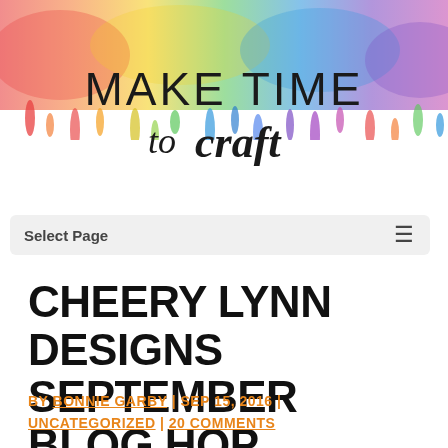[Figure (illustration): Watercolor rainbow drip banner with text 'MAKE TIME to craft' in mixed hand-lettered and sans-serif style. Rainbow colors drip downward from the top. Background is white with colorful watercolor washes.]
Select Page  ≡
CHEERY LYNN DESIGNS SEPTEMBER BLOG HOP
BY BONNIE GARBY | SEP 15, 2016 | UNCATEGORIZED | 20 COMMENTS